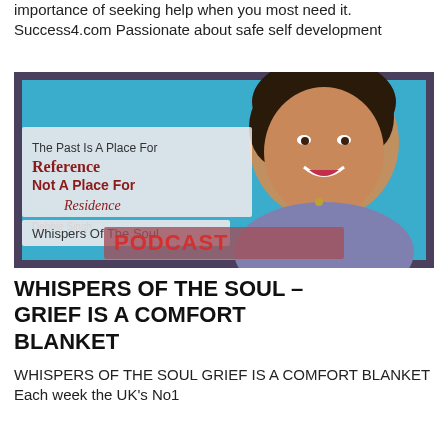importance of seeking help when you most need it. Success4.com Passionate about safe self development
[Figure (photo): Podcast thumbnail image showing a smiling woman (Debbie Singh) against a blue background with text overlay: 'The Past Is A Place For Reference Not A Place For Residence' and 'Debbie Singh Whispers Of The Soul PODCAST']
WHISPERS OF THE SOUL – GRIEF IS A COMFORT BLANKET
WHISPERS OF THE SOUL GRIEF IS A COMFORT BLANKET Each week the UK's No1